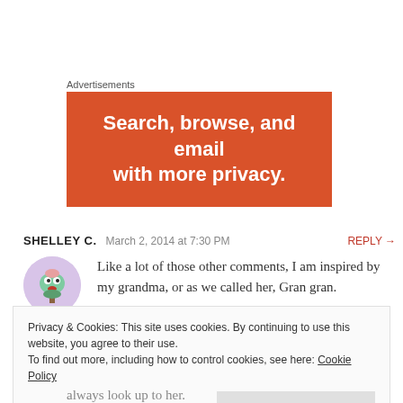Advertisements
[Figure (other): Advertisement banner with orange/red background and white bold text reading: Search, browse, and email with more privacy.]
SHELLEY C.   March 2, 2014 at 7:30 PM   REPLY →
Like a lot of those other comments, I am inspired by my grandma, or as we called her, Gran gran.
Privacy & Cookies: This site uses cookies. By continuing to use this website, you agree to their use. To find out more, including how to control cookies, see here: Cookie Policy
Close and accept
always look up to her.